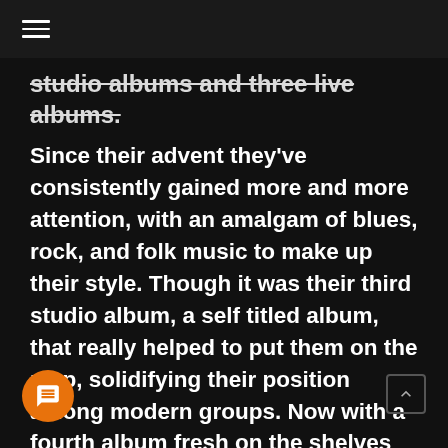≡
studio albums and three live albums.
Since their advent they've consistently gained more and more attention, with an amalgam of blues, rock, and folk music to make up their style. Though it was their third studio album, a self titled album, that really helped to put them on the map, solidifying their position among modern groups. Now with a fourth album fresh on the shelves and a signature guitar for the leading lady it's become evident that we're only going to hear more and more from Grace Potter and